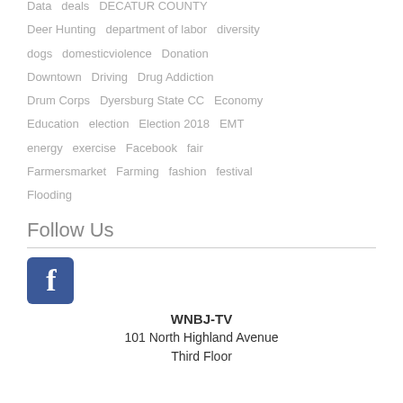Data   deals   DECATUR COUNTY
Deer Hunting   department of labor   diversity
dogs   domesticviolence   Donation
Downtown   Driving   Drug Addiction
Drum Corps   Dyersburg State CC   Economy
Education   election   Election 2018   EMT
energy   exercise   Facebook   fair
Farmersmarket   Farming   fashion   festival
Flooding
Follow Us
[Figure (logo): Facebook logo icon, blue square with white lowercase f]
WNBJ-TV
101 North Highland Avenue
Third Floor